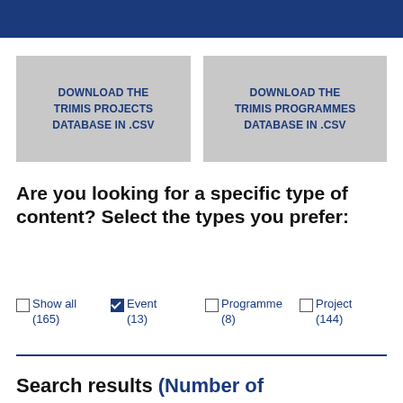DOWNLOAD THE TRIMIS PROJECTS DATABASE IN .CSV
DOWNLOAD THE TRIMIS PROGRAMMES DATABASE IN .CSV
Are you looking for a specific type of content? Select the types you prefer:
Show all (165)
Event (13)
Programme (8)
Project (144)
Search results (Number of